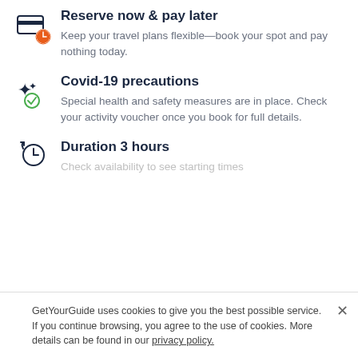Reserve now & pay later
Keep your travel plans flexible—book your spot and pay nothing today.
Covid-19 precautions
Special health and safety measures are in place. Check your activity voucher once you book for full details.
Duration 3 hours
Check availability to see starting times
If you book your Tour & Activity within 24 hours of booking your easyJet flight you will purchase what is known as a Linked Travel Arrangement. This means
GetYourGuide uses cookies to give you the best possible service. If you continue browsing, you agree to the use of cookies. More details can be found in our privacy policy.